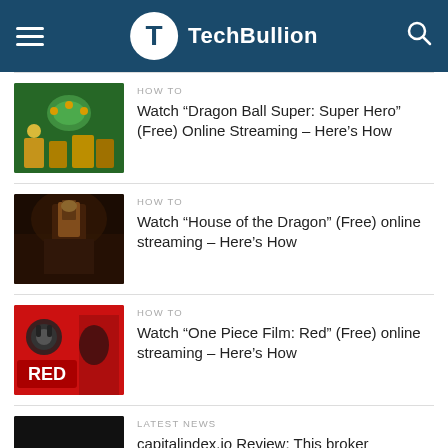TechBullion
HOW TO
Watch “Dragon Ball Super: Super Hero” (Free) Online Streaming – Here’s How
HOW TO
Watch “House of the Dragon” (Free) online streaming – Here’s How
HOW TO
Watch “One Piece Film: Red” (Free) online streaming – Here’s How
LATEST NEWS
capitalindex.io Review: This broker